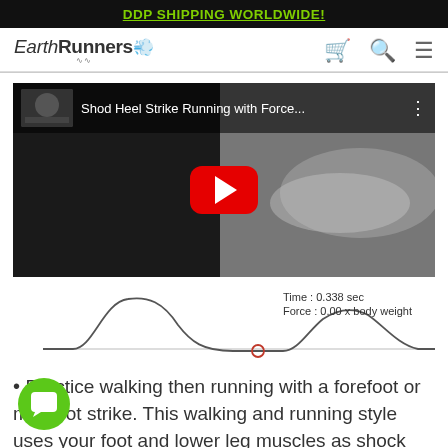DDP SHIPPING WORLDWIDE!
[Figure (logo): EarthRunners logo with cursive swash]
[Figure (screenshot): YouTube video thumbnail for 'Shod Heel Strike Running with Force...' showing a running shoe in grayscale with a red play button overlay]
[Figure (continuous-plot): Force vs time curve showing two peaks separated by a trough, with annotation: Time: 0.338 sec, Force: 0.00 x body weight. A small red circle marks the trough position.]
Practice walking then running with a forefoot or mid-foot strike. This walking and running style uses your foot and lower leg muscles as shock absorbers. Again take things slow, allowing